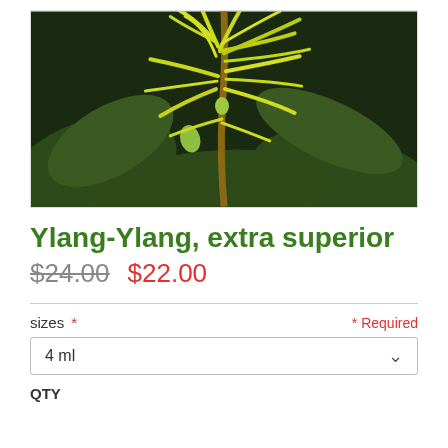[Figure (photo): Close-up photo of Ylang-Ylang flowers with yellow drooping petals and green leaves on a stem against a dark background]
Ylang-Ylang, extra superior
$24.00  $22.00
sizes * * Required
4 ml
QTY